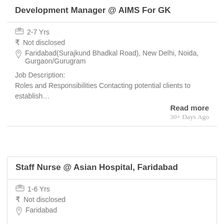Development Manager @ AIMS For GK
2-7 Yrs
₹ Not disclosed
Faridabad(Surajkund Bhadkal Road), New Delhi, Noida, Gurgaon/Gurugram
Job Description:
Roles and Responsibilities Contacting potential clients to establish…
Read more
30+ Days Ago
Staff Nurse @ Asian Hospital, Faridabad
1-6 Yrs
₹ Not disclosed
Faridabad